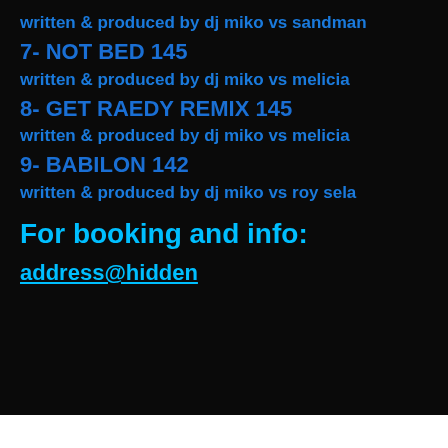written & produced by dj miko vs sandman
7- NOT BED 145
written & produced by dj miko vs melicia
8- GET RAEDY REMIX 145
written & produced by dj miko vs melicia
9- BABILON 142
written & produced by dj miko vs roy sela
For booking and info:
address@hidden